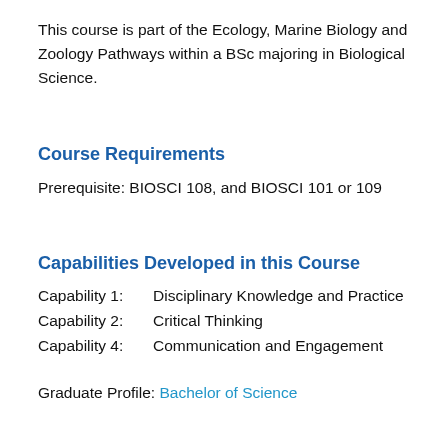This course is part of the Ecology, Marine Biology and Zoology Pathways within a BSc majoring in Biological Science.
Course Requirements
Prerequisite: BIOSCI 108, and BIOSCI 101 or 109
Capabilities Developed in this Course
Capability 1:    Disciplinary Knowledge and Practice
Capability 2:    Critical Thinking
Capability 4:    Communication and Engagement
Graduate Profile: Bachelor of Science